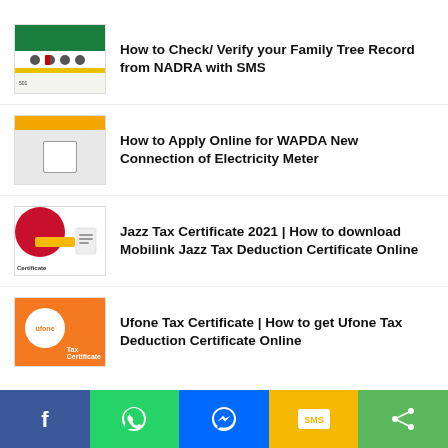How to Check/ Verify your Family Tree Record from NADRA with SMS
How to Apply Online for WAPDA New Connection of Electricity Meter
Jazz Tax Certificate 2021 | How to download Mobilink Jazz Tax Deduction Certificate Online
Ufone Tax Certificate | How to get Ufone Tax Deduction Certificate Online
[Figure (infographic): Social share bar with Facebook, WhatsApp, Messenger, SMS, and Share buttons]